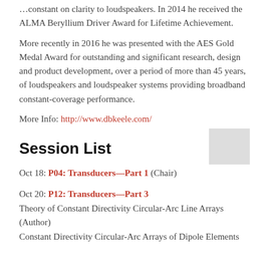... constant on clarity to loudspeakers. In 2014 he received the ALMA Beryllium Driver Award for Lifetime Achievement.
More recently in 2016 he was presented with the AES Gold Medal Award for outstanding and significant research, design and product development, over a period of more than 45 years, of loudspeakers and loudspeaker systems providing broadband constant-coverage performance.
More Info: http://www.dbkeele.com/
Session List
Oct 18: P04: Transducers—Part 1 (Chair)
Oct 20: P12: Transducers—Part 3
Theory of Constant Directivity Circular-Arc Line Arrays (Author)
Constant Directivity Circular-Arc Arrays of Dipole Elements